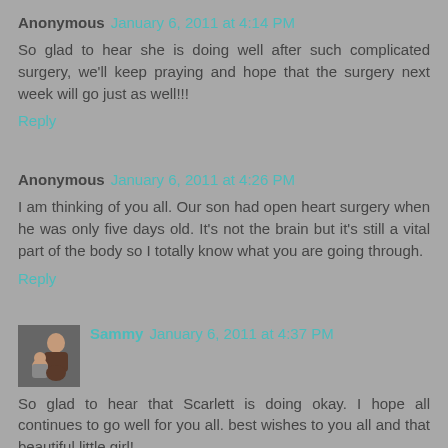Anonymous January 6, 2011 at 4:14 PM
So glad to hear she is doing well after such complicated surgery, we'll keep praying and hope that the surgery next week will go just as well!!!
Reply
Anonymous January 6, 2011 at 4:26 PM
I am thinking of you all. Our son had open heart surgery when he was only five days old. It's not the brain but it's still a vital part of the body so I totally know what you are going through.
Reply
Sammy January 6, 2011 at 4:37 PM
So glad to hear that Scarlett is doing okay. I hope all continues to go well for you all. best wishes to you all and that beautiful little girl!
Reply